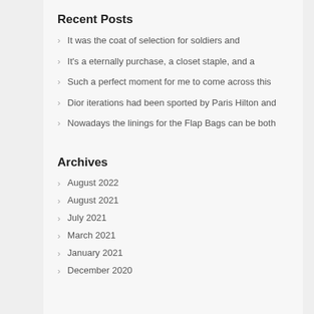Recent Posts
It was the coat of selection for soldiers and
It's a eternally purchase, a closet staple, and a
Such a perfect moment for me to come across this
Dior iterations had been sported by Paris Hilton and
Nowadays the linings for the Flap Bags can be both
Archives
August 2022
August 2021
July 2021
March 2021
January 2021
December 2020